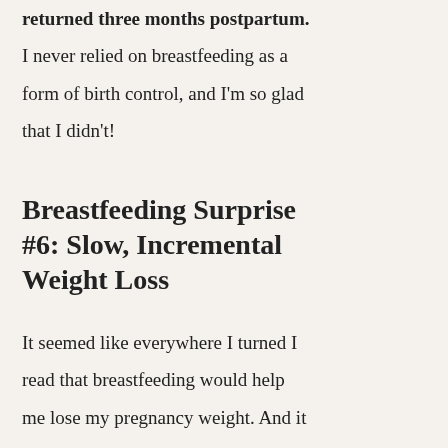returned three months postpartum. I never relied on breastfeeding as a form of birth control, and I'm so glad that I didn't!
Breastfeeding Surprise #6: Slow, Incremental Weight Loss
It seemed like everywhere I turned I read that breastfeeding would help me lose my pregnancy weight. And it did! But it was definitely a gradual